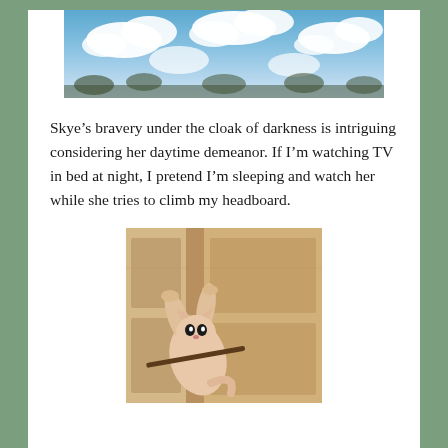[Figure (photo): Blue sky with white fluffy clouds, photo cropped at top]
Skye’s bravery under the cloak of darkness is intriguing considering her daytime demeanor. If I’m watching TV in bed at night, I pretend I’m sleeping and watch her while she tries to climb my headboard.
[Figure (photo): A cat (Skye) climbing or reaching up a wooden headboard or door frame]